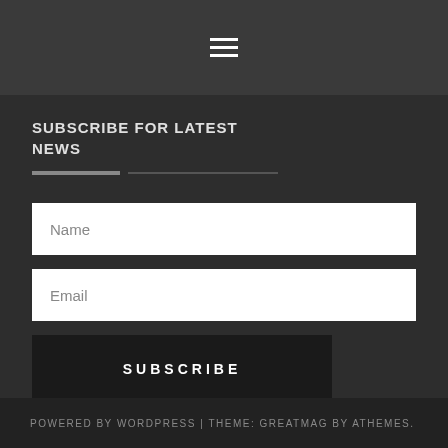[Figure (other): Hamburger menu icon (three horizontal lines) centered in a dark top navigation bar]
SUBSCRIBE FOR LATEST NEWS
[Figure (other): Horizontal divider with a darker left segment and lighter right segment]
Name
Email
SUBSCRIBE
POWERED BY WORDPRESS | THEME: GREATMAG BY ATHEMES.